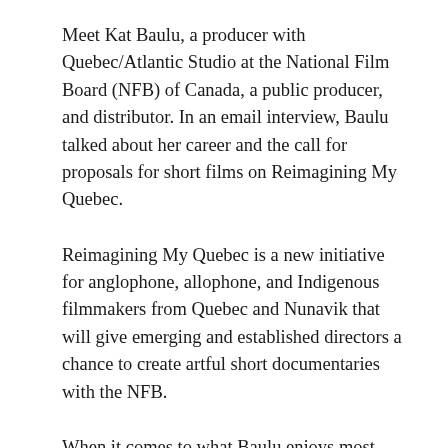Meet Kat Baulu, a producer with Quebec/Atlantic Studio at the National Film Board (NFB) of Canada, a public producer, and distributor. In an email interview, Baulu talked about her career and the call for proposals for short films on Reimagining My Quebec.
Reimagining My Quebec is a new initiative for anglophone, allophone, and Indigenous filmmakers from Quebec and Nunavik that will give emerging and established directors a chance to create artful short documentaries with the NFB.
When it comes to what Baulu enjoys most about her work, she said she enjoys those with a clear purpose to their work. “I admire people who lead their lives with mission and purpose. One person who inspires me is legendary Abenaki filmmaker Alanis Obomsawin,” she said. “With an astonishing career spanning over five decades at National Film Board of Canada, she’s made over 50 films that focus on issues facing Indigenous people in Canada. Alanis embodies what it means to make art